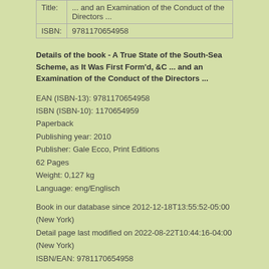| Title: | ... and an Examination of the Conduct of the Directors ... |
| ISBN: | 9781170654958 |
Details of the book - A True State of the South-Sea Scheme, as It Was First Form'd, &C ... and an Examination of the Conduct of the Directors ...
EAN (ISBN-13): 9781170654958
ISBN (ISBN-10): 1170654959
Paperback
Publishing year: 2010
Publisher: Gale Ecco, Print Editions
62 Pages
Weight: 0,127 kg
Language: eng/Englisch
Book in our database since 2012-12-18T13:55:52-05:00 (New York)
Detail page last modified on 2022-08-22T10:44:16-04:00 (New York)
ISBN/EAN: 9781170654958
ISBN - alternate spelling:
1-170-65495-9, 978-1-170-65495-8
More/other books that might be very similar to this book